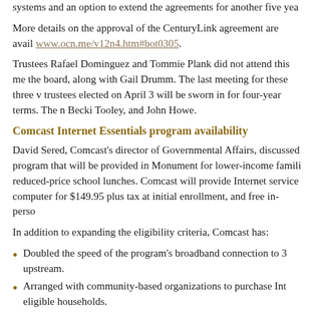systems and an option to extend the agreements for another five yea
More details on the approval of the CenturyLink agreement are avail www.ocn.me/v12n4.htm#bot0305.
Trustees Rafael Dominguez and Tommie Plank did not attend this me the board, along with Gail Drumm. The last meeting for these three v trustees elected on April 3 will be sworn in for four-year terms. The n Becki Tooley, and John Howe.
Comcast Internet Essentials program availability
David Sered, Comcast's director of Governmental Affairs, discussed program that will be provided in Monument for lower-income famili reduced-price school lunches. Comcast will provide Internet service computer for $149.95 plus tax at initial enrollment, and free in-perso
In addition to expanding the eligibility criteria, Comcast has:
Doubled the speed of the program's broadband connection to 3 upstream.
Arranged with community-based organizations to purchase Int eligible households.
Streamlined its approval process to include instant approval of program participation.
Expanded online and in-person eligibility content in interactive